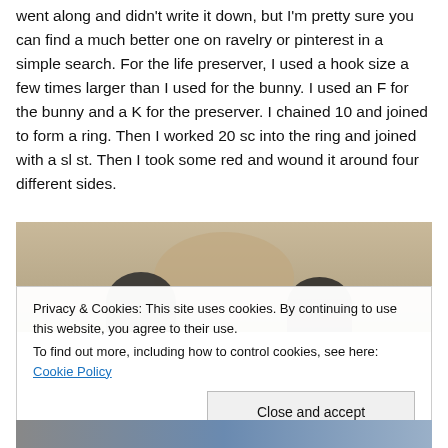went along and didn't write it down, but I'm pretty sure you can find a much better one on ravelry or pinterest in a simple search. For the life preserver, I used a hook size a few times larger than I used for the bunny. I used an F for the bunny and a K for the preserver. I chained 10 and joined to form a ring. Then I worked 20 sc into the ring and joined with a sl st. Then I took some red and wound it around four different sides.
[Figure (photo): Partial photo of a crocheted item (appears to be a bunny or life preserver) with dark hands/figures visible at bottom left and right against a tan/beige background. Cookie consent overlay covers the lower portion.]
Privacy & Cookies: This site uses cookies. By continuing to use this website, you agree to their use.
To find out more, including how to control cookies, see here: Cookie Policy
Close and accept